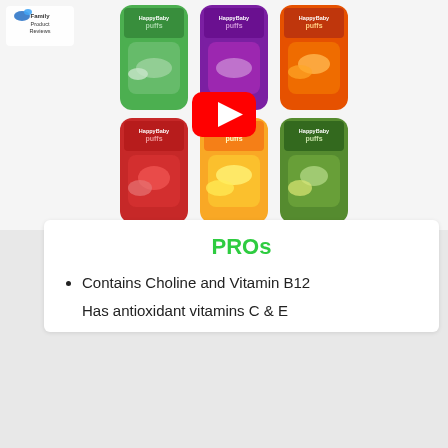[Figure (screenshot): A YouTube video thumbnail showing six containers of HappyBaby Superfood Puffs in various flavors (green kale/spinach, purple, orange carrot, red sweet potato, yellow banana/mango, green broccoli), with a Family Product Reviews logo in the top-left corner and a red YouTube play button in the center.]
PROs
Contains Choline and Vitamin B12
Has antioxidant vitamins C & E